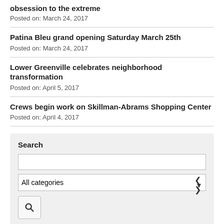obsession to the extreme
Posted on: March 24, 2017
Patina Bleu grand opening Saturday March 25th
Posted on: March 24, 2017
Lower Greenville celebrates neighborhood transformation
Posted on: April 5, 2017
Crews begin work on Skillman-Abrams Shopping Center
Posted on: April 4, 2017
Search
All categories